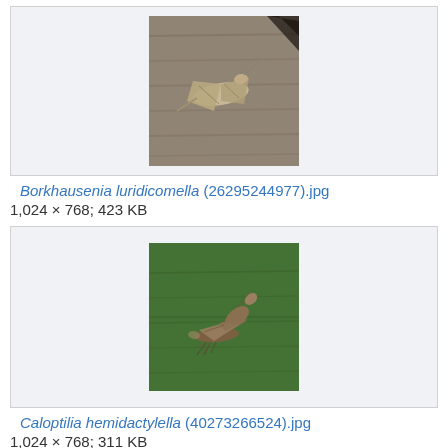[Figure (photo): A moth (Borkhausenia luridicomella) resting on a rough grayish-brown textured surface, photographed from above]
Borkhausenia luridicomella (26295244977).jpg
1,024 × 768; 423 KB
[Figure (photo): A moth (Caloptilia hemidactylella) standing on a green leaf surface, photographed from the side showing its distinctive raised forebody posture]
Caloptilia hemidactylella (40273266524).jpg
1,024 × 768; 311 KB